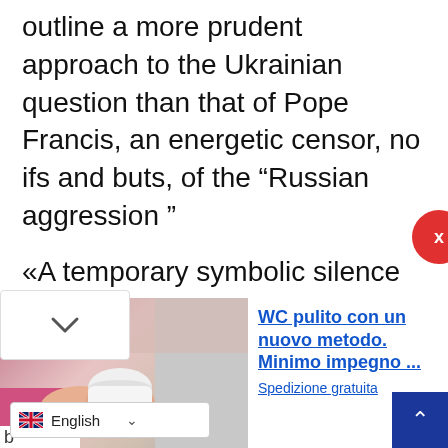outline a more prudent approach to the Ukrainian question than that of Pope Francis, an energetic censor, no ifs and buts, of the “Russian aggression”
«A temporary symbolic silence of our communication channels, against the sterile” wars of words “that accompany the din of weapons. An hour of real silence, together in a public place, to make room for questions of meaning that can show us the way to true and lasting peace “wrote Il Gruppo Abele.
[Figure (photo): Partial photo of hands holding a white cup/bowl, pink and grey tones, bottom-left of page]
WC pulito con un nuovo metodo. Minimo impegno ...
Spedizione gratuita
b... the many who are